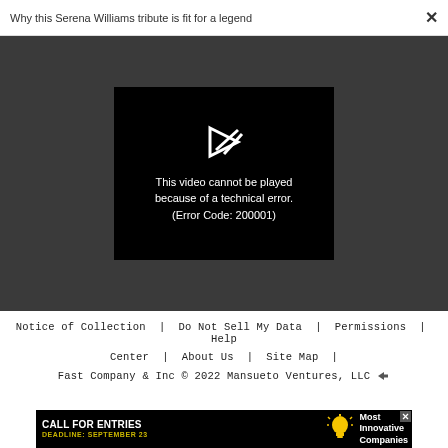Why this Serena Williams tribute is fit for a legend
[Figure (screenshot): Video player showing error message on dark grey background. Black video frame with a broken play icon and text: 'This video cannot be played because of a technical error. (Error Code: 200001)']
Notice of Collection | Do Not Sell My Data | Permissions | Help Center | About Us | Site Map | Fast Company & Inc © 2022 Mansueto Ventures, LLC
[Figure (infographic): Advertisement banner: CALL FOR ENTRIES DEADLINE: SEPTEMBER 23 [lightbulb icon] Most Innovative Companies]